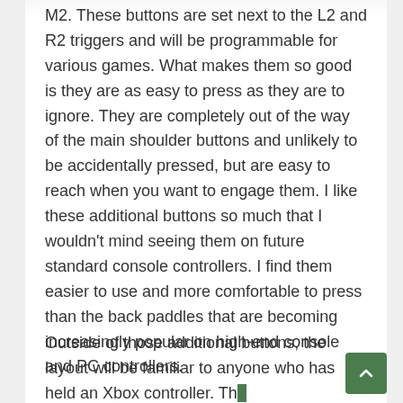M2. These buttons are set next to the L2 and R2 triggers and will be programmable for various games. What makes them so good is they are as easy to press as they are to ignore. They are completely out of the way of the main shoulder buttons and unlikely to be accidentally pressed, but are easy to reach when you want to engage them. I like these additional buttons so much that I wouldn't mind seeing them on future standard console controllers. I find them easier to use and more comfortable to press than the back paddles that are becoming increasingly popular on high-end console and PC controllers.
Outside of those additional buttons, the layout will be familiar to anyone who has held an Xbox controller. The